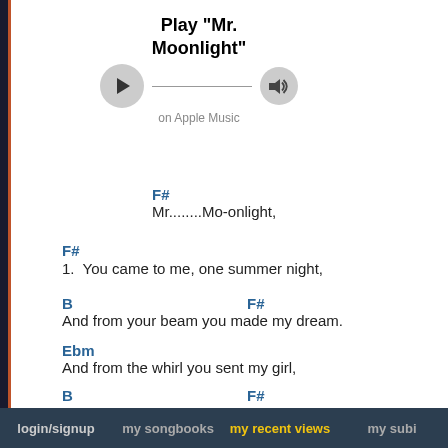[Figure (other): Play button and volume button for Mr. Moonlight on Apple Music]
F#
Mr........Mo-onlight,
F#
1.  You came to me, one summer night,
B                    F#
And from your beam you made my dream.
Ebm
And from the whirl you sent my girl,
B                    F#
And from above you sent us love.
B              F#           Eb7
And now she is mine, I think you're fine,
Abm7-C#7          F#
Cause we love you,  Mr. Moonlight,
login/signup   my songbooks   my recent views   my subi